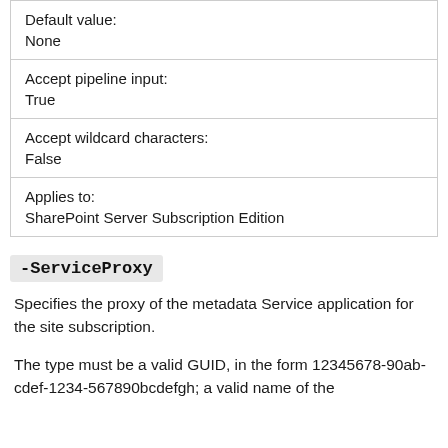| Default value: | None |
| Accept pipeline input: | True |
| Accept wildcard characters: | False |
| Applies to: | SharePoint Server Subscription Edition |
-ServiceProxy
Specifies the proxy of the metadata Service application for the site subscription.
The type must be a valid GUID, in the form 12345678-90ab-cdef-1234-567890bcdefgh; a valid name of the